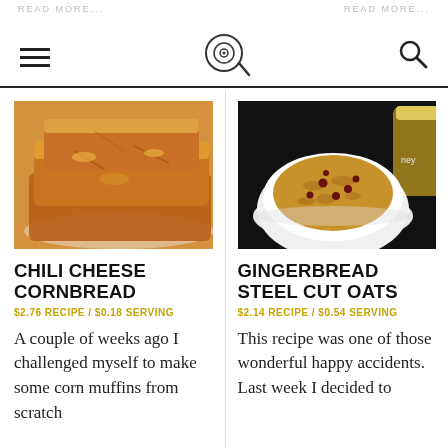READ MORE... READ MORE...
[Figure (photo): Chili cheese cornbread pieces stacked on a white plate, golden-brown cheesy top]
CHILI CHEESE CORNBREAD
$2.76 RECIPE / $0.18 SERVING
A couple of weeks ago I challenged myself to make some corn muffins from scratch
[Figure (photo): Bowl of gingerbread steel cut oats with dried cranberries, dark background, honey jar in background]
GINGERBREAD STEEL CUT OATS
$2.14 RECIPE / $0.54 SERVING
This recipe was one of those wonderful happy accidents. Last week I decided to